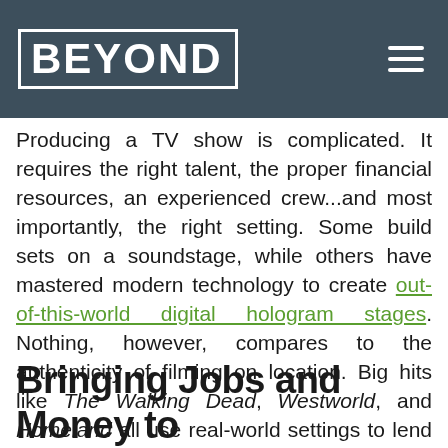BEYOND
Producing a TV show is complicated. It requires the right talent, the proper financial resources, an experienced crew...and most importantly, the right setting. Some build sets on a soundstage, while others have mastered modern technology to create out-of-this-world digital hologram stages. Nothing, however, compares to the authenticity of filming on location. Big hits like The Walking Dead, Westworld, and Homeland all use real-world settings to lend a sense of reality to their stories, and often have a positive impact in the communities where production takes place.
Bringing Jobs and Money to